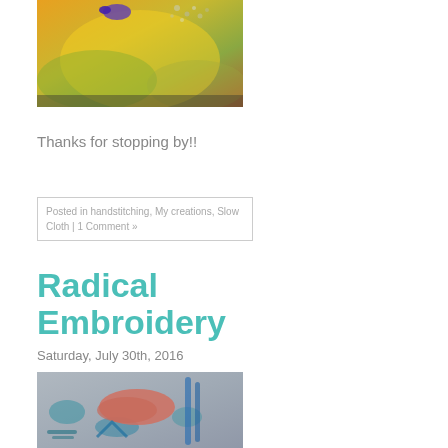[Figure (photo): Close-up of embroidery/textile artwork with yellow-green-orange background and a small blue bird or flower element at top, with silvery beaded or stitched details.]
Thanks for stopping by!!
Posted in handstitching, My creations, Slow Cloth | 1 Comment »
Radical Embroidery
Saturday, July 30th, 2016
[Figure (photo): Photo of an embroidery piece on fabric with a pink/salmon abstract shape and blue vertical brushstroke or stitching lines on a muted blue-gray background.]